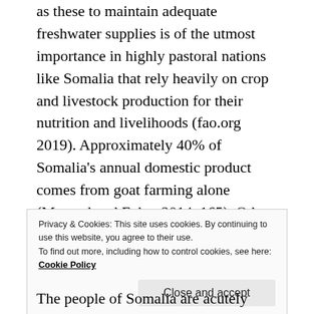as these to maintain adequate freshwater supplies is of the utmost importance in highly pastoral nations like Somalia that rely heavily on crop and livestock production for their nutrition and livelihoods (fao.org 2019). Approximately 40% of Somalia's annual domestic product comes from goat farming alone (Matstadtand Ecker 2014, 165). Other reports have shown that without efforts to limit climate change, the mean price of livestock will continue to rise as water becomes more scarce, costing people's livelihoods in agriculture and livestock farming, with the predicted outcome of fuelling even more violent conflict and political instability (Maystadt and Ecker 2014, 165).
Privacy & Cookies: This site uses cookies. By continuing to use this website, you agree to their use. To find out more, including how to control cookies, see here: Cookie Policy
Close and accept
The people of Somalia are acutely aware of the reality that